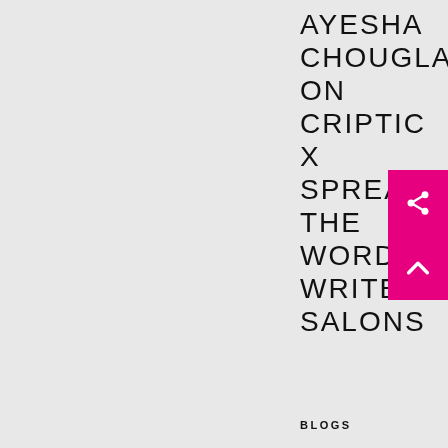AYESHA CHOUGLAY ON CRIPTIC X SPREAD THE WORD WRITERS SALONS
[Figure (infographic): Pink/magenta square with a share icon (network share symbol) and an upward chevron arrow icon in white]
BLOGS